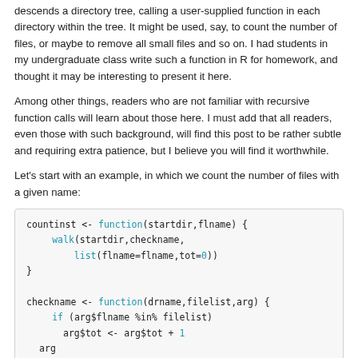descends a directory tree, calling a user-supplied function in each directory within the tree. It might be used, say, to count the number of files, or maybe to remove all small files and so on. I had students in my undergraduate class write such a function in R for homework, and thought it may be interesting to present it here.
Among other things, readers who are not familiar with recursive function calls will learn about those here. I must add that all readers, even those with such background, will find this post to be rather subtle and requiring extra patience, but I believe you will find it worthwhile.
Let's start with an example, in which we count the number of files with a given name:
[Figure (screenshot): R code block showing countinst and checkname function definitions using walk, list, and if constructs]